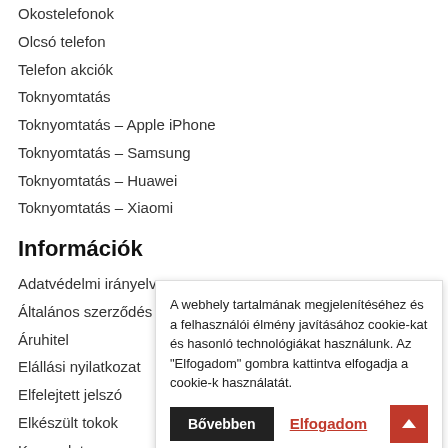Okostelefonok
Olcsó telefon
Telefon akciók
Toknyomtatás
Toknyomtatás – Apple iPhone
Toknyomtatás – Samsung
Toknyomtatás – Huawei
Toknyomtatás – Xiaomi
Információk
Adatvédelmi irányelv
Általános szerződés
Áruhitel
Elállási nyilatkozat
Elfelejtett jelszó
Elkészült tokok
Kapcsolat
Regisztráció
Szállítási információ
A webhely tartalmának megjelenítéséhez és a felhasználói élmény javításához cookie-kat és hasonló technológiákat használunk. Az "Elfogadom" gombra kattintva elfogadja a cookie-k használatát.